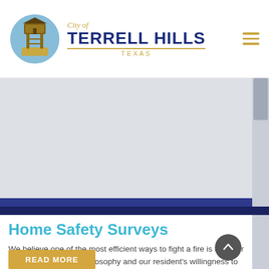[Figure (logo): City of Terrell Hills Texas logo — circular emblem with a tower/water tower, blue and tan colors, next to text reading 'City of TERRELL HILLS TEXAS']
[Figure (photo): Large grey/light blue banner image area, appears to be a placeholder or map/photo related to Terrell Hills]
Home Safety Surveys
We believe one of the most efficient ways to fight a fire is to never allow it to start. This philosophy and our resident's willingness to let us in their homes has led us in the direction we are taking now.